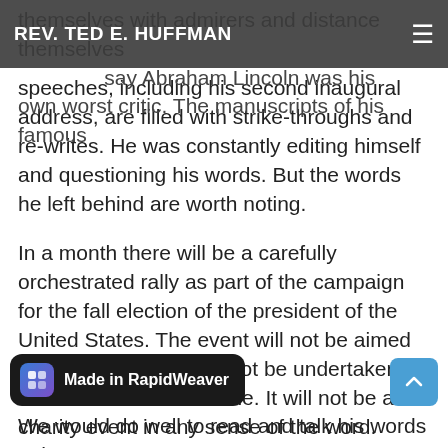REV. TED E. HUFFMAN
themselves with admirers and distance themselves from … say Abraham Lincoln was his own worst critic. The manuscripts of his famous speeches, including his second inaugural address, are filled with strike-throughs and re-writes. He was constantly editing himself and questioning his words. But the words he left behind are worth noting.
In a month there will be a carefully orchestrated rally as part of the campaign for the fall election of the president of the United States. The event will not be aimed at creating unity. It will not be undertaken with malice towards none. It will not be a charity event in any sense of the word. Crows will cheer. Fireworks will be displayed. Security will be tight.
And, as is the case with history, Lincoln will rise above it a…
We would do well to read and talk his words to heart.